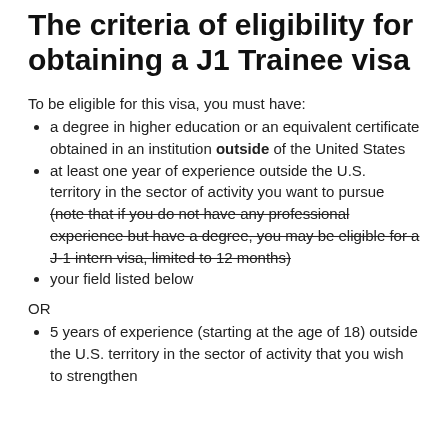The criteria of eligibility for obtaining a J1 Trainee visa
To be eligible for this visa, you must have:
a degree in higher education or an equivalent certificate obtained in an institution outside of the United States
at least one year of experience outside the U.S. territory in the sector of activity you want to pursue (note that if you do not have any professional experience but have a degree, you may be eligible for a J-1 intern visa, limited to 12 months)
your field listed below
OR
5 years of experience (starting at the age of 18) outside the U.S. territory in the sector of activity that you wish to strengthen